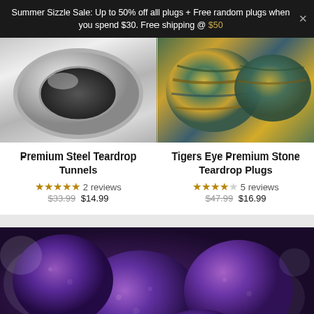Summer Sizzle Sale: Up to 50% off all plugs + Free random plugs when you spend $30. Free shipping @ $50
[Figure (photo): Silver/steel teardrop tunnel ear plug, metallic reflective surface, top portion visible]
Premium Steel Teardrop Tunnels
★★★★★ 2 reviews $33.99 $14.99
[Figure (photo): Tigers eye stone teardrop plug, yellow/teal/brown banded gemstone pattern]
Tigers Eye Premium Stone Teardrop Plugs
★★★★☆ 5 reviews $47.99 $16.99
[Figure (photo): Multiple purple/violet stone plugs (amethyst or similar) arranged together on a monochrome background]
FREE RANDOM PLUGS